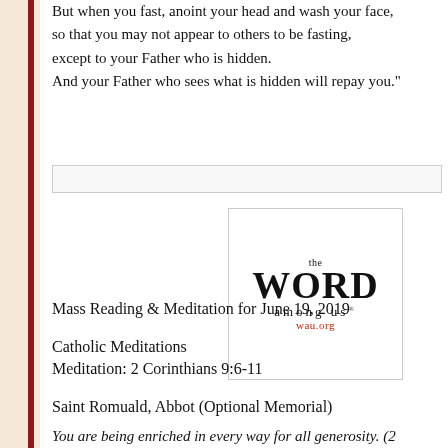But when you fast, anoint your head and wash your face, so that you may not appear to others to be fasting, except to your Father who is hidden. And your Father who sees what is hidden will repay you."
[Figure (logo): The Word Among Us logo with text 'theWORD among us' and website wau.org in red]
Mass Reading & Meditation for June 19, 2019
Catholic Meditations
Meditation: 2 Corinthians 9:6-11
Saint Romuald, Abbot (Optional Memorial)
You are being enriched in every way for all generosity. (2